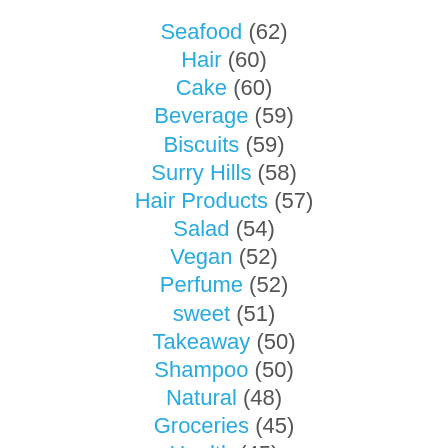Seafood (62)
Hair (60)
Cake (60)
Beverage (59)
Biscuits (59)
Surry Hills (58)
Hair Products (57)
Salad (54)
Vegan (52)
Perfume (52)
sweet (51)
Takeaway (50)
Shampoo (50)
Natural (48)
Groceries (45)
Health (45)